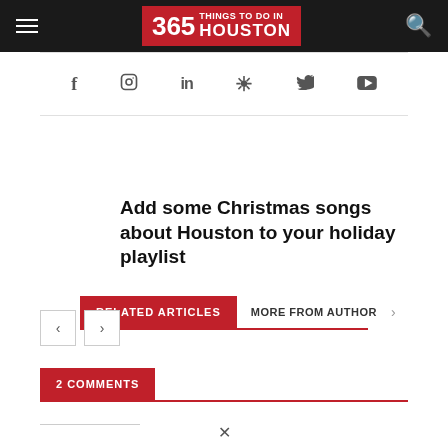365 Things To Do In Houston
[Figure (screenshot): Social media icons row: Facebook, Instagram, LinkedIn, Pinterest, Twitter, YouTube]
RELATED ARTICLES | MORE FROM AUTHOR
Add some Christmas songs about Houston to your holiday playlist
[Figure (other): Navigation previous and next arrow buttons]
2 COMMENTS